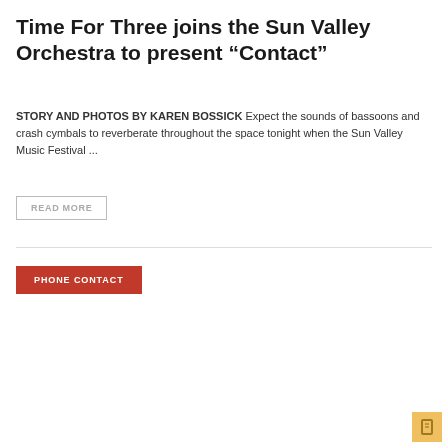Time For Three joins the Sun Valley Orchestra to present “Contact”
STORY AND PHOTOS BY KAREN BOSSICK Expect the sounds of bassoons and crash cymbals to reverberate throughout the space tonight when the Sun Valley Music Festival ...
READ MORE
PHONE CONTACT